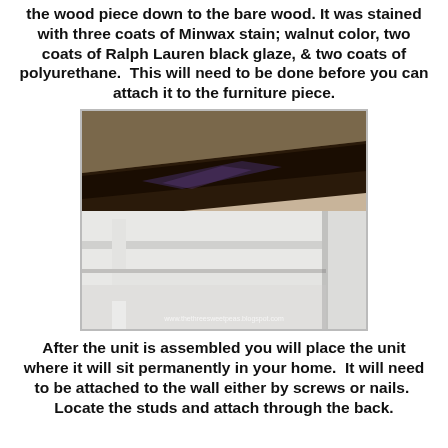the wood piece down to the bare wood. It was stained with three coats of Minwax stain; walnut color, two coats of Ralph Lauren black glaze, & two coats of polyurethane.  This will need to be done before you can attach it to the furniture piece.
[Figure (photo): Close-up photo of a furniture piece showing a dark stained wood top edge contrasting with a white painted body below, with shelving visible. Watermark reads www.thethreesweetpeas.blogspot.com]
After the unit is assembled you will place the unit where it will sit permanently in your home.  It will need to be attached to the wall either by screws or nails.  Locate the studs and attach through the back.